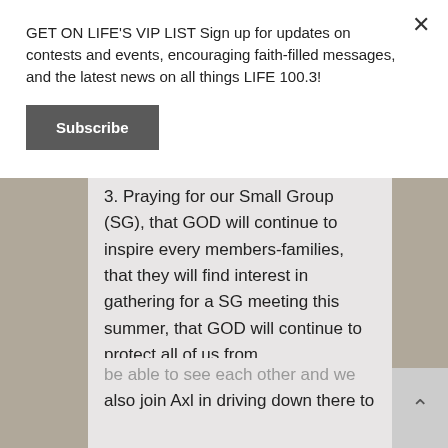GET ON LIFE'S VIP LIST Sign up for updates on contests and events, encouraging faith-filled messages, and the latest news on all things LIFE 100.3!
Subscribe
be able to see each other and we can also join Axl in driving down there to see, to fellowship and to join our friends, family and relatives in worship.
3. Praying for our Small Group (SG), that GOD will continue to inspire every members-families, that they will find interest in gathering for a SG meeting this summer, that GOD will continue to protect all of us from